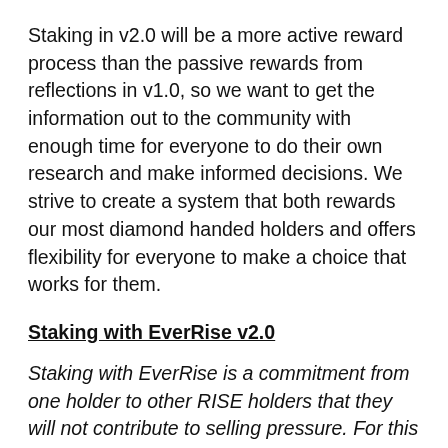Staking in v2.0 will be a more active reward process than the passive rewards from reflections in v1.0, so we want to get the information out to the community with enough time for everyone to do their own research and make informed decisions. We strive to create a system that both rewards our most diamond handed holders and offers flexibility for everyone to make a choice that works for them.
Staking with EverRise v2.0
Staking with EverRise is a commitment from one holder to other RISE holders that they will not contribute to selling pressure. For this commitment, the staking holder receives rewards commensurate with the time period of that commitment.